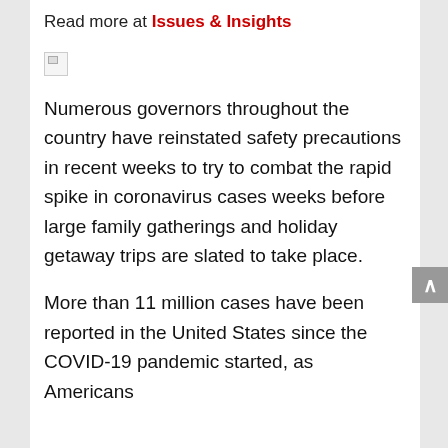Read more at Issues & Insights
[Figure (other): Broken image placeholder icon]
Numerous governors throughout the country have reinstated safety precautions in recent weeks to try to combat the rapid spike in coronavirus cases weeks before large family gatherings and holiday getaway trips are slated to take place.
More than 11 million cases have been reported in the United States since the COVID-19 pandemic started, as Americans